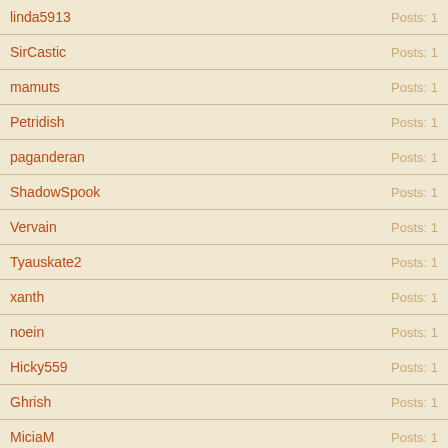linda5913 — Posts: 1
SirCastic — Posts: 1
mamuts — Posts: 1
Petridish — Posts: 1
paganderan — Posts: 1
ShadowSpook — Posts: 1
Vervain — Posts: 1
Tyauskate2 — Posts: 1
xanth — Posts: 1
noein — Posts: 1
Hicky559 — Posts: 1
Ghrish — Posts: 1
MiciaM — Posts: 1
bladechopper — Posts: 1
ratukoro — Posts: 1
Fistor_ — Posts: 1
Show Thread & Close Window